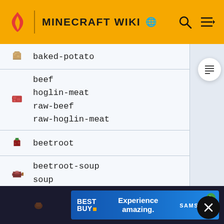MINECRAFT WIKI
baked-potato
beef
hoglin-meat
raw-beef
raw-hoglin-meat
beetroot
beetroot-soup
soup
berries
sweet-berries
cake